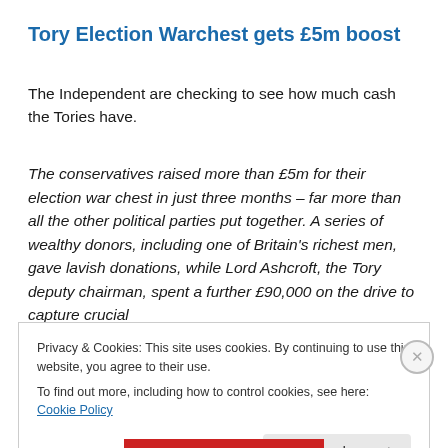Tory Election Warchest gets £5m boost
The Independent are checking to see how much cash the Tories have.
The conservatives raised more than £5m for their election war chest in just three months – far more than all the other political parties put together. A series of wealthy donors, including one of Britain's richest men, gave lavish donations, while Lord Ashcroft, the Tory deputy chairman, spent a further £90,000 on the drive to capture crucial
Privacy & Cookies: This site uses cookies. By continuing to use this website, you agree to their use.
To find out more, including how to control cookies, see here: Cookie Policy